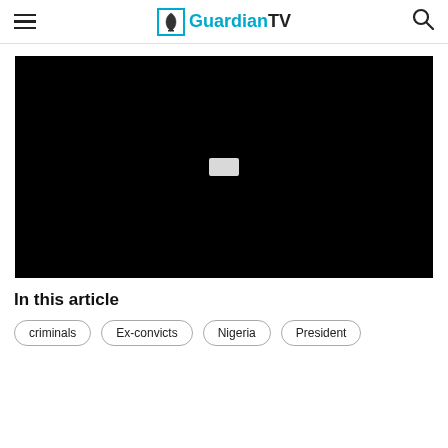GuardianTV
[Figure (screenshot): Black video player area with a small white play/pause indicator in the center]
In this article
criminals
Ex-convicts
Nigeria
President